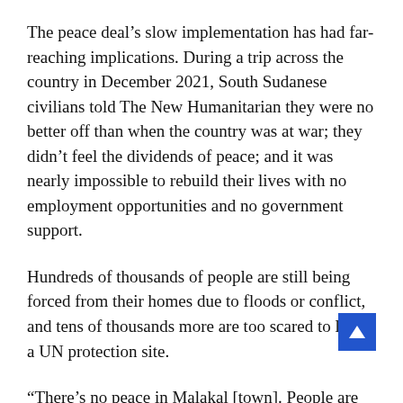The peace deal's slow implementation has had far-reaching implications. During a trip across the country in December 2021, South Sudanese civilians told The New Humanitarian they were no better off than when the country was at war; they didn't feel the dividends of peace; and it was nearly impossible to rebuild their lives with no employment opportunities and no government support.
Hundreds of thousands of people are still being forced from their homes due to floods or conflict, and tens of thousands more are too scared to leave a UN protection site.
“There’s no peace in Malakal [town]. People are being killed and no one’s held responsible,” said Adam Ajak, an ethnic Shilluk chief who lives in a UN-run camp in the northern city of Malakal where some 34,000 people seek refuge. In December, camp residents reported at least one